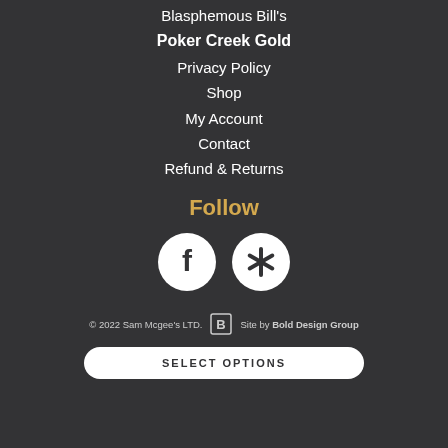Blasphemous Bill's
Poker Creek Gold
Privacy Policy
Shop
My Account
Contact
Refund & Returns
Follow
[Figure (illustration): Two circular social media icons: Facebook (f) and Yelp (asterisk/star) on dark background, white circles with dark icons]
© 2022 Sam Mcgee's LTD.  [Bold Design Group logo]  Site by Bold Design Group
SELECT OPTIONS